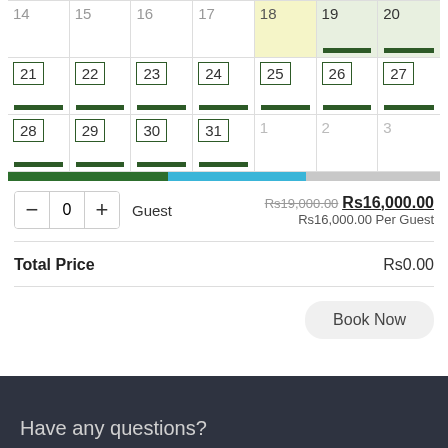[Figure (other): Calendar grid showing days 14-31 and 1-3, with days 18-20 highlighted in yellow-green and 21-31 having green bordered boxes with green bars. A progress bar below shows green, blue, and gray segments.]
- 0 + Guest   Rs19,000.00 Rs16,000.00   Rs16,000.00 Per Guest
Total Price   Rs0.00
Book Now
Have any questions?